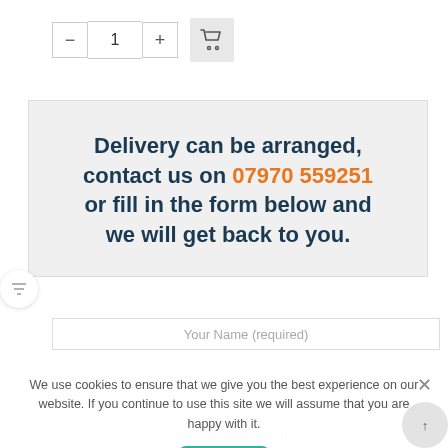[Figure (other): Quantity selector with minus button, number 1, plus button, and shopping cart button]
Delivery can be arranged, contact us on 07970 559251 or fill in the form below and we will get back to you.
[Figure (other): Filter/funnel icon in a white circle]
Your Name (required)
We use cookies to ensure that we give you the best experience on our website. If you continue to use this site we will assume that you are happy with it.
Ok
Your Telephone (required)